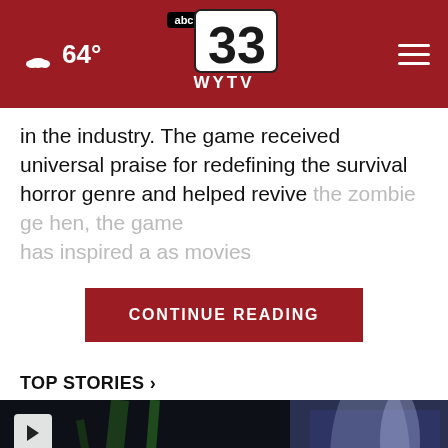64° | abc 33 WYTV
in the industry. The game received universal praise for redefining the survival horror genre and helped revive the zombie ge[nre. Since] hen, the game has inspired a [wide range of media] as movies
CONTINUE READING
TOP STORIES ›
[Figure (photo): Dark video thumbnail showing a person's hands near green plants and a purple/white object, with a play button overlay in the top-left corner.]